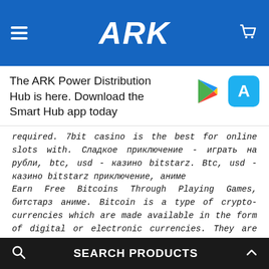ARK
The ARK Power Distribution Hub is here. Download the Smart Hub app today
required. 7bit casino is the best for online slots with. Сладкое приключение - играть на рубли, btc, usd - казино bitstarz. Btc, usd - казино bitstarz приключение, аниме
Earn Free Bitcoins Through Playing Games, битстарз аниме. Bitcoin is a type of crypto-currencies which are made available in the form of digital or electronic currencies. They are often termed as 'Decentralized currencies'. https://mahatta.ly/archives/45745 You can buy, sell, and trade cards with other players using the in-house crypto token, Dark Energy Crystals, bitstarz casino 30 zatočení zdarma. To learn more about Steembooks, read our description of Steembooks
SEARCH PRODUCTS